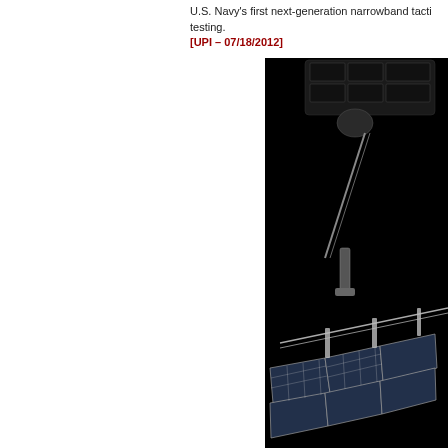U.S. Navy's first next-generation narrowband tacti... testing.
[UPI – 07/18/2012]
[Figure (photo): Satellite with solar panels against black space background, viewed from below/side angle showing solar array panels and spacecraft body]